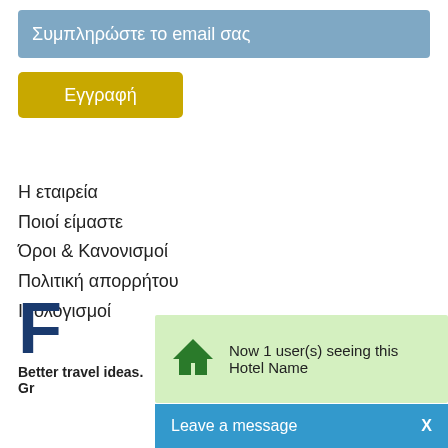Συμπληρώστε το email σας
Εγγραφή
Η εταιρεία
Ποιοί είμαστε
Όροι & Κανονισμοί
Πολιτική απορρήτου
Ισολογισμοί
[Figure (logo): Letter F logo in dark blue, bold large font]
Better travel ideas. Gr
Now 1 user(s) seeing this Hotel Name
Leave a message  X